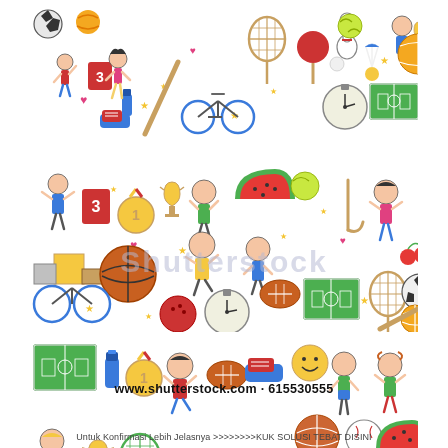[Figure (illustration): Three horizontal bands of colorful children's sports doodle illustrations featuring cartoon kids playing sports, soccer balls, tennis rackets, bicycles, trophies, medals, basketballs, volleyball, table tennis, badminton, hockey sticks, water bottle, stopwatch, football field, and other sports equipment. Middle band has Shutterstock watermark overlay.]
www.shutterstock.com · 615530555
Untuk Konfirmasi Lebih Jelasnya >>>>>>>>KUK SOLUSI TEBAT DISINI